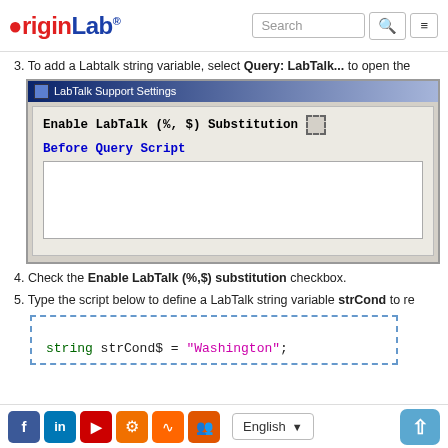OriginLab [logo] Search [search button] [menu button]
3. To add a Labtalk string variable, select Query: LabTalk... to open the
[Figure (screenshot): LabTalk Support Settings dialog showing 'Enable LabTalk (%, $) Substitution' checkbox and 'Before Query Script' label with empty text area]
4. Check the Enable LabTalk (%,$) substitution checkbox.
5. Type the script below to define a LabTalk string variable strCond to re
[Figure (screenshot): Code box with dashed blue border showing: string strCond$ = "Washington";]
Social icons: Facebook, LinkedIn, YouTube, Settings, RSS, Groups | Language: English | Up button